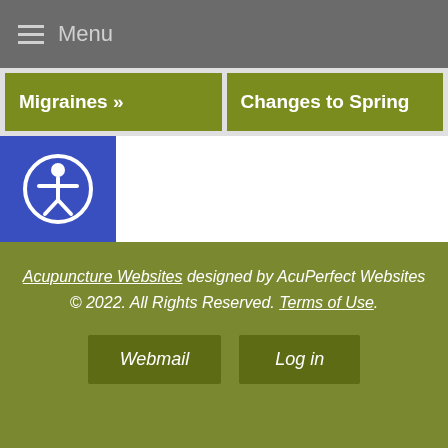Menu
Migraines »
Changes to Spring
[Figure (other): Accessibility icon - person in circle on blue background]
Acupuncture Websites designed by AcuPerfect Websites © 2022. All Rights Reserved. Terms of Use.
Webmail
Log in
6308348536